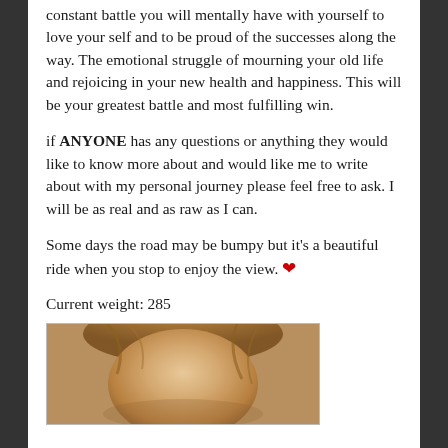constant battle you will mentally have with yourself to love your self and to be proud of the successes along the way. The emotional struggle of mourning your old life and rejoicing in your new health and happiness. This will be your greatest battle and most fulfilling win.
if ANYONE has any questions or anything they would like to know more about and would like me to write about with my personal journey please feel free to ask. I will be as real and as raw as I can.
Some days the road may be bumpy but it's a beautiful ride when you stop to enjoy the view. ❤
Current weight: 285
[Figure (photo): Close-up photo of a person's face, showing hair and facial features from above, with warm tones]